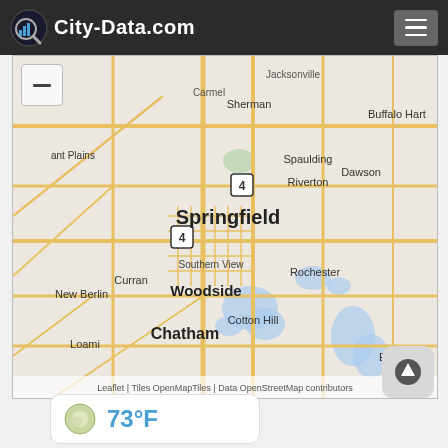City-Data.com
[Figure (map): Street map centered on Springfield, Illinois showing surrounding areas including Sherman, Buffalo Hart, Spaulding, Dawson, Riverton, Rochester, Cotton Hill, Woodside, Southern View, Chatham, Curran, New Berlin, Loami, Edinburg, and Grant Plains. Routes 4 are marked. Blue water bodies visible. Roads shown in orange/yellow. Map attribution: Leaflet | Tiles OpenMapTiles | Data OpenStreetMap contributors]
Leaflet | Tiles OpenMapTiles | Data OpenStreetMap contributors
73°F